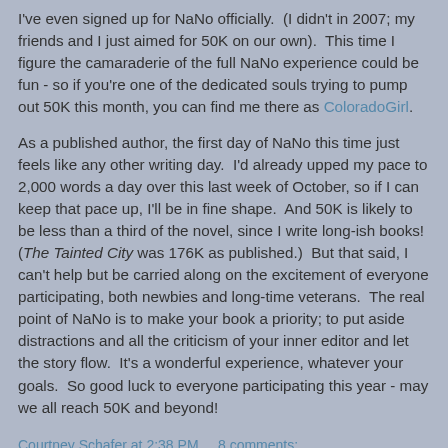I've even signed up for NaNo officially.  (I didn't in 2007; my friends and I just aimed for 50K on our own).  This time I figure the camaraderie of the full NaNo experience could be fun - so if you're one of the dedicated souls trying to pump out 50K this month, you can find me there as ColoradoGirl.
As a published author, the first day of NaNo this time just feels like any other writing day.  I'd already upped my pace to 2,000 words a day over this last week of October, so if I can keep that pace up, I'll be in fine shape.  And 50K is likely to be less than a third of the novel, since I write long-ish books!  (The Tainted City was 176K as published.)  But that said, I can't help but be carried along on the excitement of everyone participating, both newbies and long-time veterans.  The real point of NaNo is to make your book a priority; to put aside distractions and all the criticism of your inner editor and let the story flow.  It's a wonderful experience, whatever your goals.  So good luck to everyone participating this year - may we all reach 50K and beyond!
Courtney Schafer at 2:38 PM    8 comments: